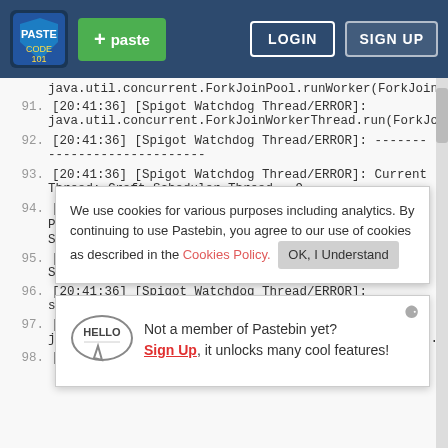[Figure (screenshot): Pastebin website navigation bar with logo, green paste button, LOGIN and SIGN UP buttons on dark blue background]
java.util.concurrent.ForkJoinPool.runWorker(ForkJoin...
91. [20:41:36] [Spigot Watchdog Thread/ERROR]:
java.util.concurrent.ForkJoinWorkerThread.run(ForkJo...
92. [20:41:36] [Spigot Watchdog Thread/ERROR]: -------
---------------------
93. [20:41:36] [Spigot Watchdog Thread/ERROR]: Current Thread: Craft Scheduler Thread - 9
94. [20:41:36] [Spigot Watchdog Thread/ERROR]:
PI...
St...
95. [2...
St...
96. [20:41:36] [Spigot Watchdog Thread/ERROR]:
su...
97. [2...
ja...util.concurrent.ForkJoinLockSupport.park(Lu...
98. [20:41:36] [Spigot Watchdog Thread/ERROR]:
Cookie banner: We use cookies for various purposes including analytics. By continuing to use Pastebin, you agree to our use of cookies as described in the Cookies Policy. OK, I Understand
Hello popup: Not a member of Pastebin yet? Sign Up, it unlocks many cool features!